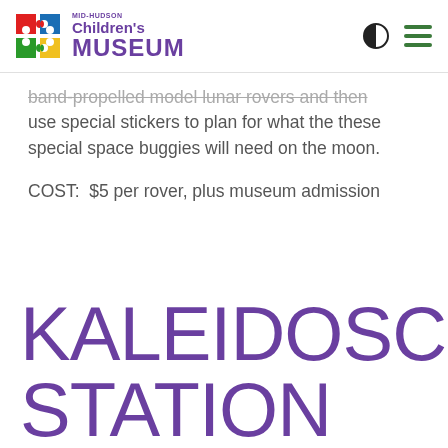Mid-Hudson Children's Museum
band-propelled model lunar rovers and then use special stickers to plan for what the these special space buggies will need on the moon.
COST:  $5 per rover, plus museum admission
KALEIDOSCOPE STATION